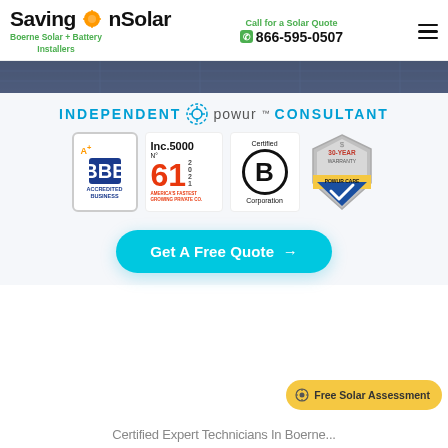SavingOnSolar — Boerne Solar + Battery Installers | Call for a Solar Quote 866-595-0507
[Figure (photo): Dark hero banner with solar panel texture]
INDEPENDENT powur™ CONSULTANT
[Figure (logo): BBB A+ Accredited Business badge]
[Figure (logo): Inc. 5000 No. 61 America's Fastest Growing Private Co badge]
[Figure (logo): Certified B Corporation badge]
[Figure (logo): 30-Year Warranty Powur Care shield badge]
Get A Free Quote →
Free Solar Assessment
Certified Expert Technicians In Boerne...